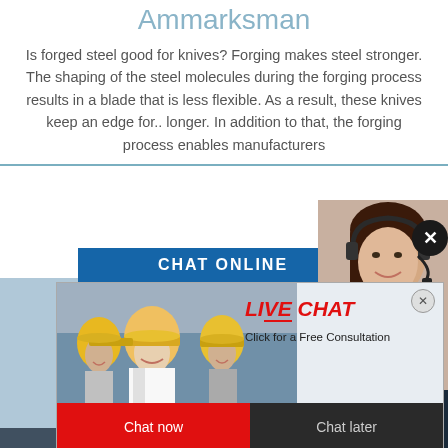Ammarksman
Is forged steel good for knives? Forging makes steel stronger. The shaping of the steel molecules during the forging process results in a blade that is less flexible. As a result, these knives keep an edge for.. longer. In addition to that, the forging process enables manufacturers
[Figure (photo): Live chat popup overlay with workers in yellow hard hats and a customer service representative with headset. Contains 'CHAT ONLINE' banner, 'LIVE CHAT' heading in red italic, 'Click for a Free Consultation' subtitle, and 'Chat now' (red) and 'Chat later' (dark) buttons.]
[Figure (photo): Industrial facility photograph showing steel structures, pipes and industrial equipment in blue tones.]
ave any requests, click here.
Quotation
Enquiry
limingjlmofen@sina.com